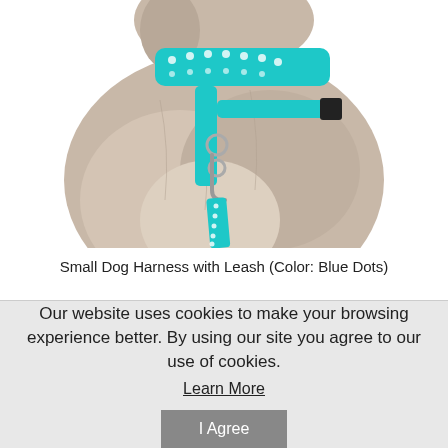[Figure (photo): A small dog wearing a teal/blue harness with white dot pattern and attached leash, shown from the side/back view against a white background.]
Small Dog Harness with Leash (Color: Blue Dots)
Our website uses cookies to make your browsing experience better. By using our site you agree to our use of cookies.
Learn More
I Agree